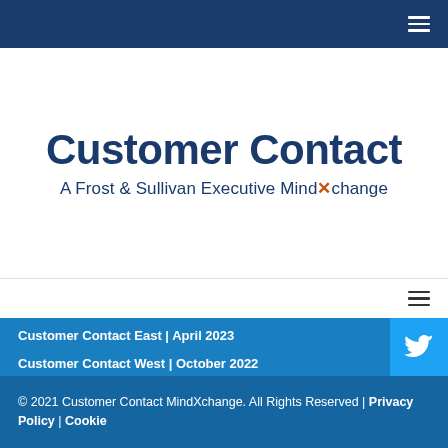Customer Contact A Frost & Sullivan Executive MindXchange
Customer Contact East | April 2023
Customer Contact West | October 2022
Customer Experience Ecosystem | July 2022
On Demand Webinars
© 2021 Customer Contact MindXchange. All Rights Reserved | Privacy Policy | Cookie